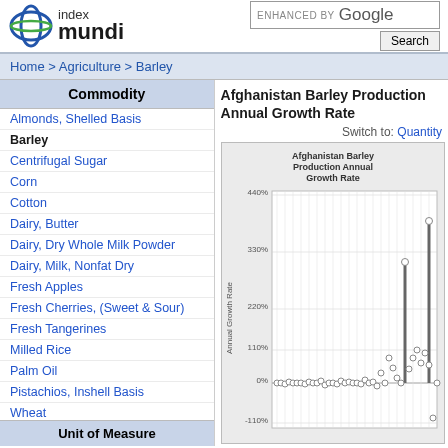index mundi | ENHANCED BY Google | Search
Home > Agriculture > Barley
Commodity
Almonds, Shelled Basis
Barley
Centrifugal Sugar
Corn
Cotton
Dairy, Butter
Dairy, Dry Whole Milk Powder
Dairy, Milk, Nonfat Dry
Fresh Apples
Fresh Cherries, (Sweet & Sour)
Fresh Tangerines
Milled Rice
Palm Oil
Pistachios, Inshell Basis
Wheat
Unit of Measure
Afghanistan Barley Production Annual Growth Rate
Switch to: Quantity
[Figure (scatter-plot): Scatter plot showing Afghanistan Barley Production Annual Growth Rate over time. Y-axis shows percentages from -110% to 440%. Most data points cluster near 0%, with notable spikes around 110%, 220%, 330%, and one point reaching approximately 370%.]